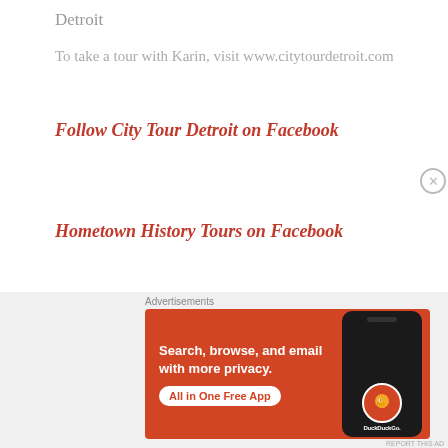Detroit
To take a tour with Karin, visit www.citytourdetroit.com
Follow City Tour Detroit on Facebook
Hometown History Tours on Facebook
[Figure (other): DuckDuckGo advertisement banner with orange background showing a smartphone. Text reads: 'Search, browse, and email with more privacy. All in One Free App'. DuckDuckGo logo shown on phone screen.]